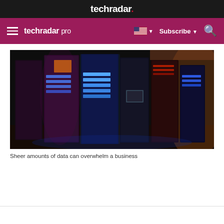techradar.
techradar pro  Subscribe
[Figure (photo): Row of server racks in a data center with blue and red LED lighting in a dark environment]
Sheer amounts of data can overwhelm a business